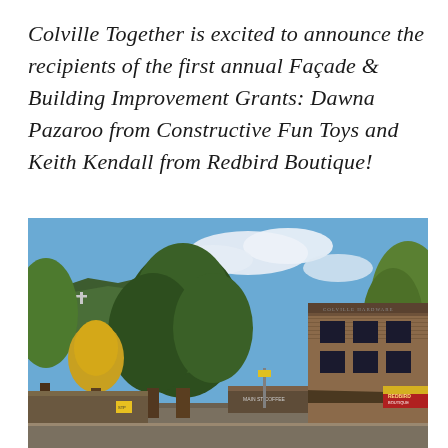Colville Together is excited to announce the recipients of the first annual Façade & Building Improvement Grants: Dawna Pazaroo from Constructive Fun Toys and Keith Kendall from Redbird Boutique!
[Figure (photo): Street-level view of a small town downtown. Tall deciduous trees in autumn foliage line the street. A forested hillside with a visible cross is in the background under a partly cloudy blue sky. On the right side, a brick commercial building with dark windows is visible, along with a storefront with a red and yellow awning. Signs and storefronts line the lower portion of the image.]